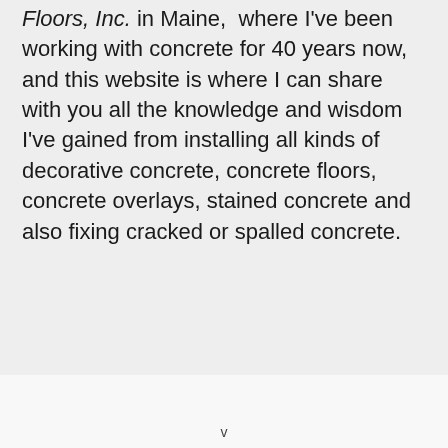Floors, Inc. in Maine, where I've been working with concrete for 40 years now, and this website is where I can share with you all the knowledge and wisdom I've gained from installing all kinds of decorative concrete, concrete floors, concrete overlays, stained concrete and also fixing cracked or spalled concrete.
v